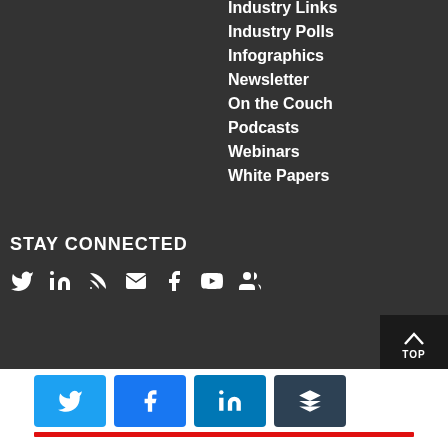Industry Links
Industry Polls
Infographics
Newsletter
On the Couch
Podcasts
Webinars
White Papers
STAY CONNECTED
[Figure (infographic): Social media icons row: Twitter, LinkedIn, RSS, Email, Facebook, YouTube, and another icon]
[Figure (infographic): Share bar at bottom with Twitter, Facebook, LinkedIn, Buffer buttons and red underline bar]